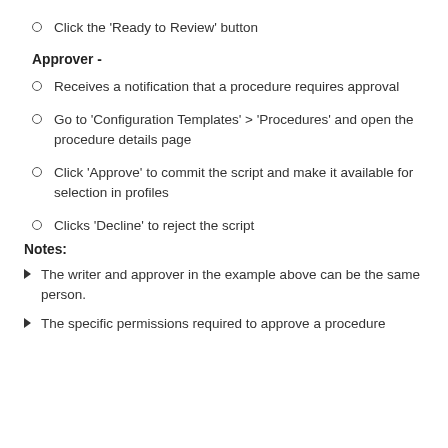Click the 'Ready to Review' button
Approver -
Receives a notification that a procedure requires approval
Go to 'Configuration Templates' > 'Procedures' and open the procedure details page
Click 'Approve' to commit the script and make it available for selection in profiles
Clicks 'Decline' to reject the script
Notes:
The writer and approver in the example above can be the same person.
The specific permissions required to approve a procedure